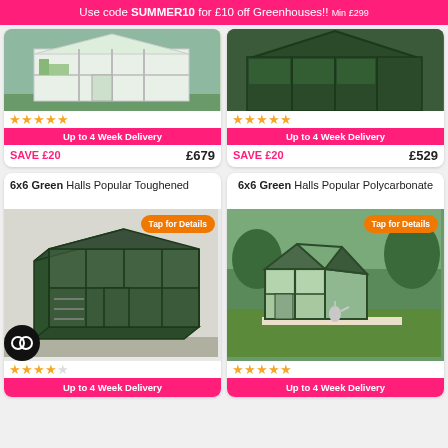Use code SUMMER10 for £10 off Greenhouses!! Min £299
Up to 4 Week Delivery
SAVE £20   £679
Up to 4 Week Delivery
SAVE £20   £529
6x6 Green Halls Popular Toughened
6x6 Green Halls Popular Polycarbonate
[Figure (photo): Green metal frame greenhouse with glass panels, front view]
[Figure (photo): Dark green polycarbonate greenhouse in garden setting]
Tap for Details
Tap for Details
Up to 4 Week Delivery
Up to 4 Week Delivery